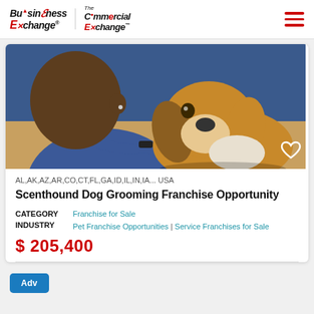Business Exchange | The Commercial Exchange
[Figure (photo): A person leaning in close to a beagle dog, nose-to-nose, with a blue background. The person is wearing a blue shirt and a black wristband.]
AL,AK,AZ,AR,CO,CT,FL,GA,ID,IL,IN,IA... USA
Scenthound Dog Grooming Franchise Opportunity
CATEGORY   Franchise for Sale
INDUSTRY   Pet Franchise Opportunities | Service Franchises for Sale
$ 205,400
Adv